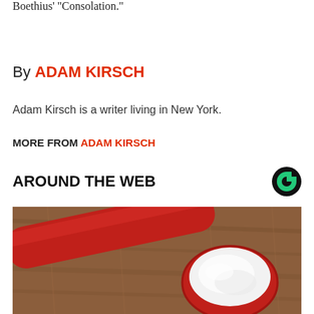Boethius' "Consolation."
By ADAM KIRSCH
Adam Kirsch is a writer living in New York.
MORE FROM ADAM KIRSCH
AROUND THE WEB
[Figure (photo): A red measuring spoon filled with white powder, resting on a wooden surface.]